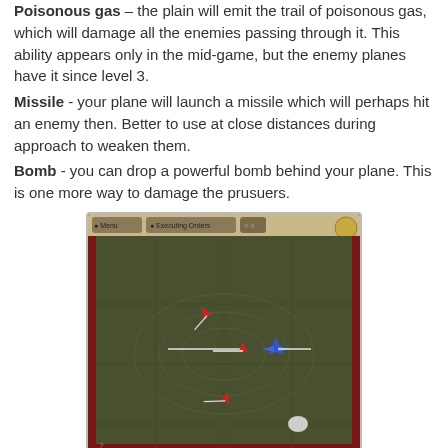Poisonous gas – the plain will emit the trail of poisonous gas, which will damage all the enemies passing through it. This ability appears only in the mid-game, but the enemy planes have it since level 3.
Missile - your plane will launch a missile which will perhaps hit an enemy then. Better to use at close distances during approach to weaken them.
Bomb - you can drop a powerful bomb behind your plane. This is one more way to damage the prusuers.
[Figure (screenshot): A game screenshot showing a top-down view of planes (blue and red) flying over a grid map with a menu bar at top showing 'Menu', 'Executing Orders' buttons.]
When the End Turn button or Space is pressed, the planes of both sides start moving according to their orders. They